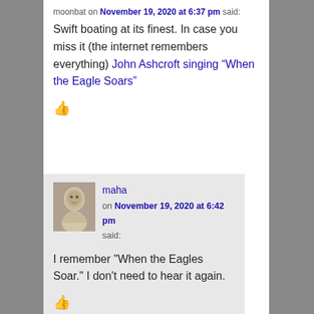moonbat on November 19, 2020 at 6:37 pm said:
Swift boating at its finest. In case you miss it (the internet remembers everything) John Ashcroft singing “When the Eagle Soars”
[Figure (other): Blue thumbs-up like icon]
maha on November 19, 2020 at 6:42 pm said:
[Figure (photo): Small black and white avatar photo of a young child]
I remember "When the Eagles Soar." I don't need to hear it again.
[Figure (other): Blue thumbs-up like icon]